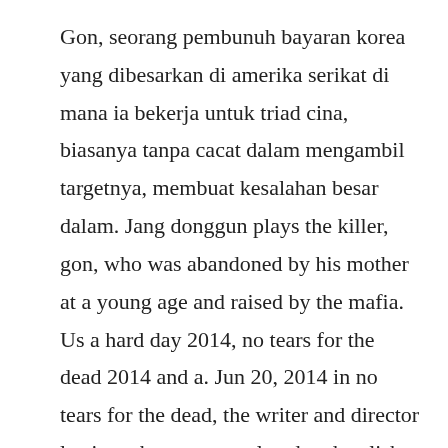Gon, seorang pembunuh bayaran korea yang dibesarkan di amerika serikat di mana ia bekerja untuk triad cina, biasanya tanpa cacat dalam mengambil targetnya, membuat kesalahan besar dalam. Jang donggun plays the killer, gon, who was abandoned by his mother at a young age and raised by the mafia. Us a hard day 2014, no tears for the dead 2014 and a. Jun 20, 2014 in no tears for the dead, the writer and director lee jeongbeoms convoluted and stylish new action film, a south koreanborn,